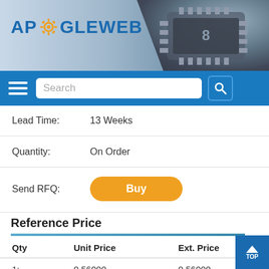[Figure (screenshot): ApoGeeWeb website header banner with logo and microchip image in the background]
Search navigation bar with hamburger menu and search box
Lead Time: 13 Weeks
Quantity: On Order
Send RFQ: Buy
Reference Price
| Qty | Unit Price | Ext. Price |
| --- | --- | --- |
| 1: | 0.56000 | 0.56000 |
| 10: | 0.48700 | 4.87000 |